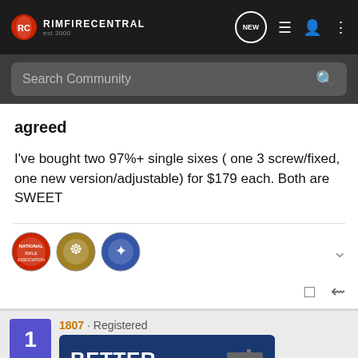RIMFIRECENTRAL
Search Community
agreed
I've bought two 97%+ single sixes ( one 3 screw/fixed, one new version/adjustable) for $179 each. Both are SWEET
[Figure (logo): Three circular membership/organization badge icons]
1807 · Registered
[Figure (photo): Advertisement banner showing BETTER text with a firearm image on blue background]